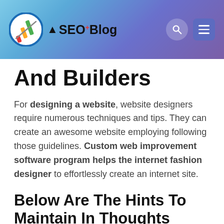[Figure (logo): SEO Blog website header with logo (circular icon with colorful arrows), brand name 'A SEO+ Blog', search icon, and hamburger menu icon on a blue-purple gradient background]
And Builders
For designing a website, website designers require numerous techniques and tips. They can create an awesome website employing following those guidelines. Custom web improvement software program helps the internet fashion designer to effortlessly create an internet site.
Below Are The Hints To Maintain In Thoughts While Designing An Internet Site:-